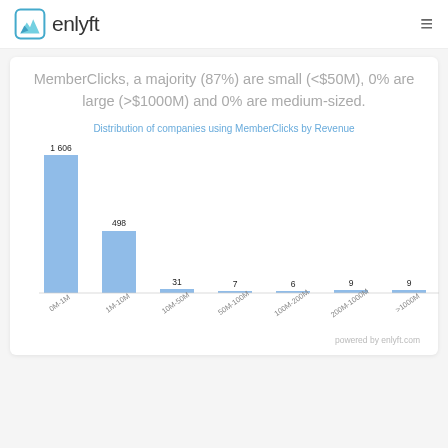enlyft
MemberClicks, a majority (87%) are small (<$50M), 0% are large (>$1000M) and 0% are medium-sized.
[Figure (bar-chart): Distribution of companies using MemberClicks by Revenue]
powered by enlyft.com